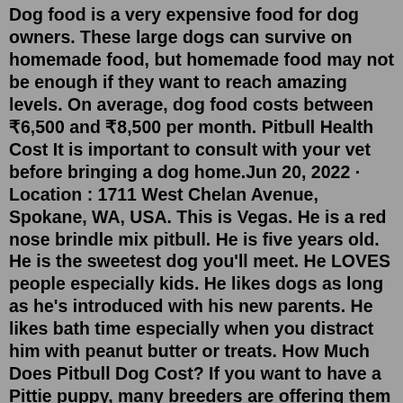Dog food is a very expensive food for dog owners. These large dogs can survive on homemade food, but homemade food may not be enough if they want to reach amazing levels. On average, dog food costs between ₹6,500 and ₹8,500 per month. Pitbull Health Cost It is important to consult with your vet before bringing a dog home.Jun 20, 2022 · Location : 1711 West Chelan Avenue, Spokane, WA, USA. This is Vegas. He is a red nose brindle mix pitbull. He is five years old. He is the sweetest dog you'll meet. He LOVES people especially kids. He likes dogs as long as he's introduced with his new parents. He likes bath time especially when you distract him with peanut butter or treats. How Much Does Pitbull Dog Cost? If you want to have a Pittie puppy, many breeders are offering them between $500 to $700. If coming from a good bloodline, the price can go higher up to $2000. Likewise, for rare colors, especially for Red Nose and Blue Nose Pitties, you can expect to pay these puppies premium prices.Because they aren't a common sight, Blue Nose Pitbulls can cost around $3,000. Red Nose